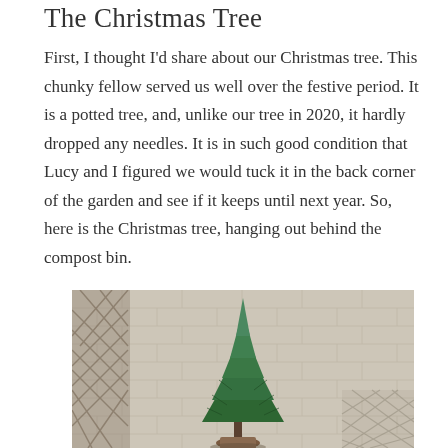The Christmas Tree
First, I thought I'd share about our Christmas tree. This chunky fellow served us well over the festive period. It is a potted tree, and, unlike our tree in 2020, it hardly dropped any needles. It is in such good condition that Lucy and I figured we would tuck it in the back corner of the garden and see if it keeps until next year. So, here is the Christmas tree, hanging out behind the compost bin.
[Figure (photo): A small potted Christmas tree sitting outdoors against a stone brick wall, with a fence/lattice visible on the left side. The tree is a compact conifer with green branches, placed on the ground behind what is described as a compost bin.]